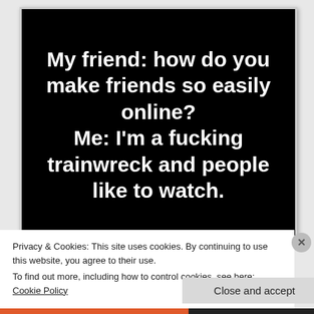[Figure (illustration): Black background meme image with bold white text reading: My friend: how do you make friends so easily online? Me: I'm a fucking trainwreck and people like to watch.]
Privacy & Cookies: This site uses cookies. By continuing to use this website, you agree to their use.
To find out more, including how to control cookies, see here: Cookie Policy
Close and accept